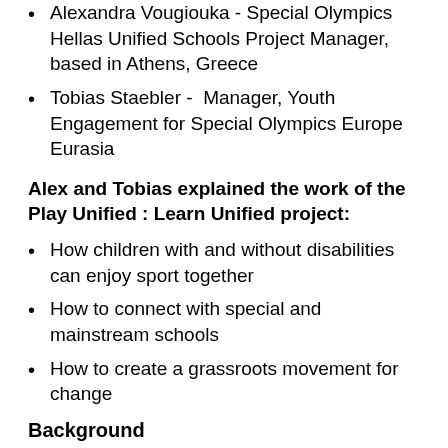Alexandra Vougiouka - Special Olympics Hellas Unified Schools Project Manager, based in Athens, Greece
Tobias Staebler - Manager, Youth Engagement for Special Olympics Europe Eurasia
Alex and Tobias explained the work of the Play Unified : Learn Unified project:
How children with and without disabilities can enjoy sport together
How to connect with special and mainstream schools
How to create a grassroots movement for change
Background